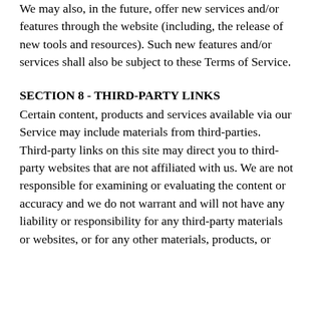We may also, in the future, offer new services and/or features through the website (including, the release of new tools and resources). Such new features and/or services shall also be subject to these Terms of Service.
SECTION 8 - THIRD-PARTY LINKS
Certain content, products and services available via our Service may include materials from third-parties. Third-party links on this site may direct you to third-party websites that are not affiliated with us. We are not responsible for examining or evaluating the content or accuracy and we do not warrant and will not have any liability or responsibility for any third-party materials or websites, or for any other materials, products, or